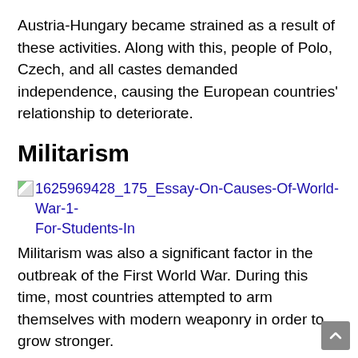Austria-Hungary became strained as a result of these activities. Along with this, people of Polo, Czech, and all castes demanded independence, causing the European countries' relationship to deteriorate.
Militarism
[Figure (other): Broken image placeholder with filename: 1625969428_175_Essay-On-Causes-Of-World-War-1-For-Students-In]
Militarism was also a significant factor in the outbreak of the First World War. During this time, most countries attempted to arm themselves with modern weaponry in order to grow stronger.
Machine guns, tanks, three huge ships with guns, and other weapons were developed during this time period.